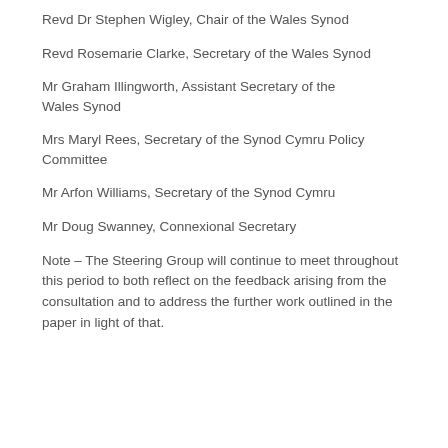Revd Dr Stephen Wigley, Chair of the Wales Synod
Revd Rosemarie Clarke, Secretary of the Wales Synod
Mr Graham Illingworth, Assistant Secretary of the Wales Synod
Mrs Maryl Rees, Secretary of the Synod Cymru Policy Committee
Mr Arfon Williams, Secretary of the Synod Cymru
Mr Doug Swanney, Connexional Secretary
Note – The Steering Group will continue to meet throughout this period to both reflect on the feedback arising from the consultation and to address the further work outlined in the paper in light of that.